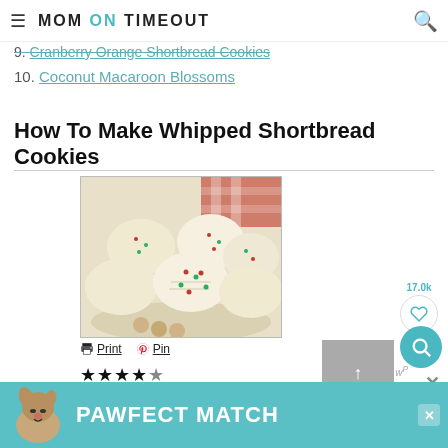MOM ON TIMEOUT
9. Cranberry Orange Shortbread Cookies
10. Coconut Macaroon Blossoms
How To Make Whipped Shortbread Cookies
[Figure (photo): Plate of round whipped shortbread cookies decorated with red and green sprinkles]
Print  Pin
★★★★★
17.0k
[Figure (infographic): PAWFECT MATCH advertisement banner with dog image]